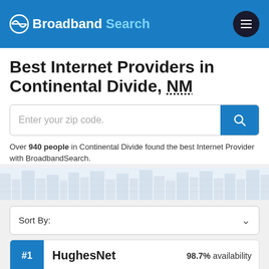Broadband Search
Best Internet Providers in Continental Divide, NM
Over 940 people in Continental Divide found the best Internet Provider with BroadbandSearch.
Sort By:
#1 HughesNet 98.7% availability
[Figure (logo): HughesNet logo in teal/blue color]